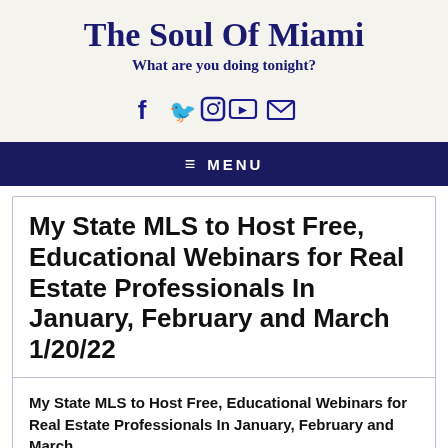The Soul Of Miami
What are you doing tonight?
[Figure (other): Social media icons: Facebook, Twitter, Instagram, YouTube, Email]
MENU
My State MLS to Host Free, Educational Webinars for Real Estate Professionals In January, February and March 1/20/22
My State MLS to Host Free, Educational Webinars for Real Estate Professionals In January, February and March Thursday, 01/20/2022-, 02:00 pm-03:00 pm